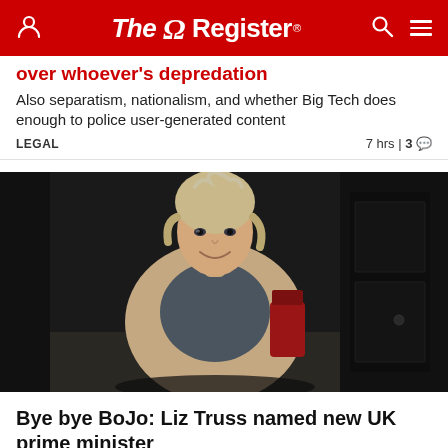The Register
over whoever's depredation
Also separatism, nationalism, and whether Big Tech does enough to police user-generated content
LEGAL   7 hrs | 3
[Figure (photo): Woman with short blonde/grey hair wearing a beige leather jacket and dark top, walking outside near a dark door (appears to be Liz Truss outside 10 Downing Street)]
Bye bye BoJo: Liz Truss named new UK prime minister
Shortest-held it...as new prime minister, O...